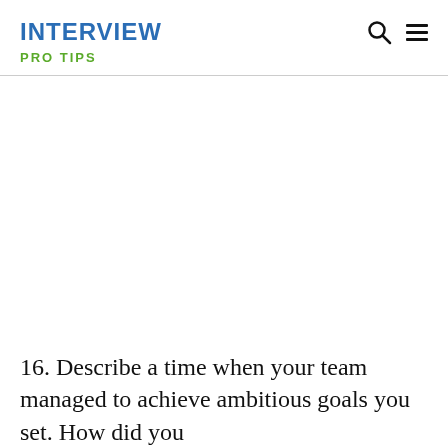INTERVIEW PRO TIPS
16. Describe a time when your team managed to achieve ambitious goals you set. How did you